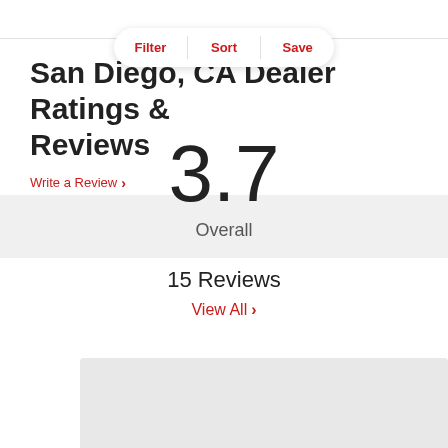Filter | Sort | Save
San Diego, CA Dealer Ratings & Reviews
Write a Review >
3.7
Overall
15 Reviews
View All >